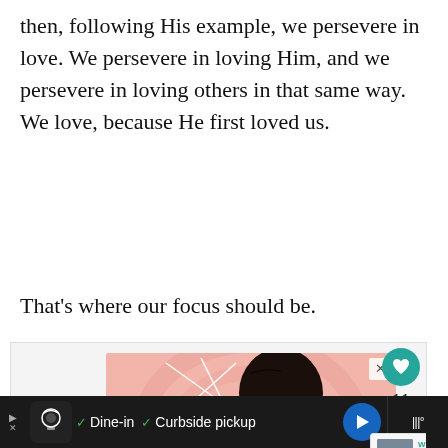then, following His example, we persevere in love. We persevere in loving Him, and we persevere in loving others in that same way.  We love, because He first loved us.
That's where our focus should be.
[Figure (illustration): Illustration of a man's profile (side view) with dark skin, short hair, wearing a yellow top, set against a pink/rose background with white decorative line shapes. An advertisement image with a close X button in the top right corner.]
[Figure (screenshot): UI sidebar showing a teal heart icon button, like count of 11, and a share button.]
[Figure (screenshot): What's Next panel showing thumbnail image and text: 'WHAT'S NEXT → The Cure, Chapter Fou...']
[Figure (screenshot): Bottom advertisement bar on dark background showing a restaurant logo, checkmarks, text 'Dine-in  Curbside pickup', a blue navigation arrow button, and weather widget on right.]